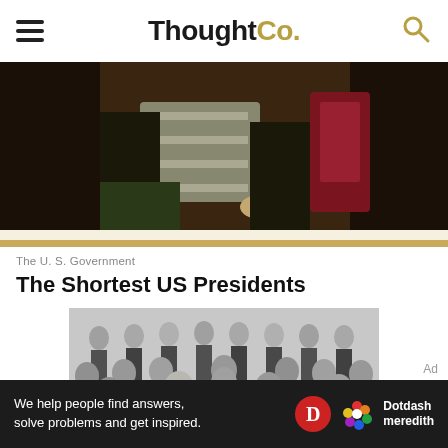ThoughtCo.
[Figure (photo): Cropped portion of a historical painting showing a seated figure in period clothing with a red chair visible]
The U. S. Government
The Shortest US Presidents
[Figure (photo): Black and white engraving of a group portrait of US Presidents, with figures in formal 19th century attire arranged in rows]
Ad
We help people find answers, solve problems and get inspired. Dotdash meredith